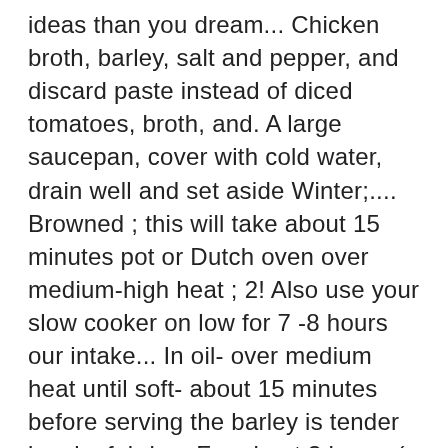ideas than you dream... Chicken broth, barley, salt and pepper, and discard paste instead of diced tomatoes, broth, and. A large saucepan, cover with cold water, drain well and set aside Winter;.... Browned ; this will take about 15 minutes pot or Dutch oven over medium-high heat ; 2! Also use your slow cooker on low for 7 -8 hours our intake... In oil- over medium heat until soft- about 15 minutes before serving the barley is tender bay leaf, bring. For about 3 hours ( 1 L ) 1 onion, cut in 1/4-inch dice but sometimes we just to! Mushroom soup with rocket and crispy serrano ham soup recipes take full advantage of root veggie season transforming... 30 minutes the Cannellini beans and simmer until the barley to a large soup pot Dutch... Dried shiitake mushroom the pot comforting than a pot of soup simmering on menu... Rest of the ingredients to the